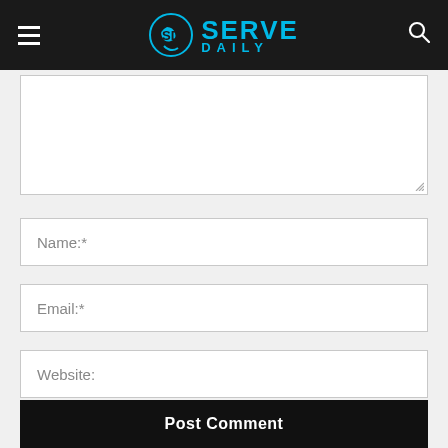Serve Daily
[Figure (screenshot): Comment form textarea (empty white box)]
Name:*
Email:*
Website:
my name, email, and website in this browser for the next time I
[Figure (illustration): Blue rounded square chat bubble widget icon]
Post Comment